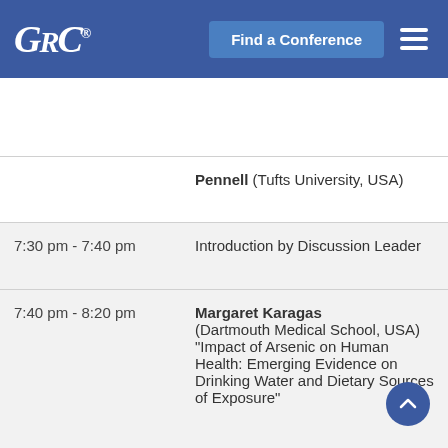GRC® | Find a Conference
| Time | Event |
| --- | --- |
|  | Pennell (Tufts University, USA) |
| 7:30 pm - 7:40 pm | Introduction by Discussion Leader |
| 7:40 pm - 8:20 pm | Margaret Karagas (Dartmouth Medical School, USA) "Impact of Arsenic on Human Health: Emerging Evidence on Drinking Water and Dietary Sources of Exposure" |